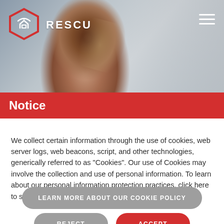[Figure (photo): Header photo of a woman with auburn/brown hair looking down, against a blurred indoor background. RESCU logo (red hexagon with home/wifi icon) and brand name 'RESCU' in white text on the left, hamburger menu icon on the right.]
Notice
We collect certain information through the use of cookies, web server logs, web beacons, script, and other technologies, generically referred to as "Cookies". Our use of Cookies may involve the collection and use of personal information. To learn about our personal information protection practices, click here to see our Privacy Policy.
LEARN MORE ABOUT OUR COOKIE POLICY
REJECT
ACCEPT